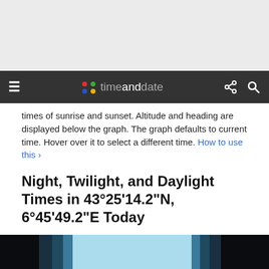timeanddate (navigation bar)
times of sunrise and sunset. Altitude and heading are displayed below the graph. The graph defaults to current time. Hover over it to select a different time. How to use this ›
Night, Twilight, and Daylight Times in 43°25'14.2"N, 6°45'49.2"E Today
[Figure (infographic): Horizontal bar chart showing night, twilight, and daylight times across a 24-hour period. Dark black on far left and right (night), dark teal bands (astronomical/nautical twilight), and light blue in the middle (daytime). X-axis labels: 12 am, 2 am, 4 am, 6 am, 8 am, 10 am, 12 pm, 2 pm, 4 pm, 6 pm, 8 pm, 10 pm.]